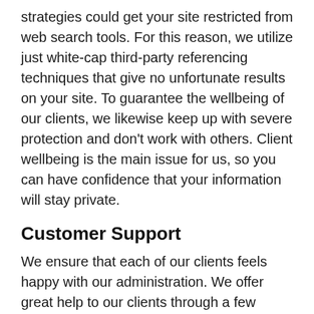strategies could get your site restricted from web search tools. For this reason, we utilize just white-cap third-party referencing techniques that give no unfortunate results on your site. To guarantee the wellbeing of our clients, we likewise keep up with severe protection and don't work with others. Client wellbeing is the main issue for us, so you can have confidence that your information will stay private.
Customer Support
We ensure that each of our clients feels happy with our administration. We offer great help to our clients through a few channels. Our expert client care group is dynamic every minute of every day to